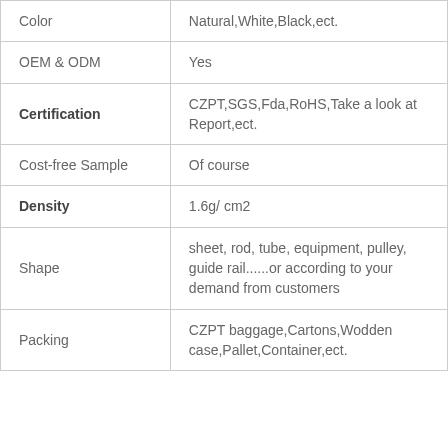| Property | Value |
| --- | --- |
| Color | Natural,White,Black,ect. |
| OEM & ODM | Yes |
| Certification | CZPT,SGS,Fda,RoHS,Take a look at Report,ect. |
| Cost-free Sample | Of course |
| Density | 1.6g/ cm2 |
| Shape | sheet, rod, tube, equipment, pulley, guide rail......or according to your demand from customers |
| Packing | CZPT baggage,Cartons,Wodden case,Pallet,Container,ect. |